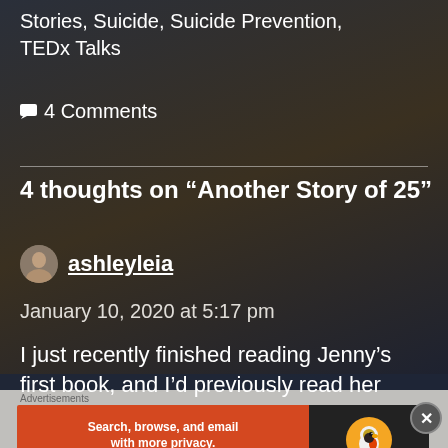Stories, Suicide, Suicide Prevention, TEDx Talks
🗨 4 Comments
4 thoughts on “Another Story of 25”
ashleyleia
January 10, 2020 at 5:17 pm
I just recently finished reading Jenny’s first book, and I’d previously read her
[Figure (other): DuckDuckGo advertisement banner: orange left panel with text 'Search, browse, and email with more privacy. All in One Free App' and dark right panel with DuckDuckGo duck logo]